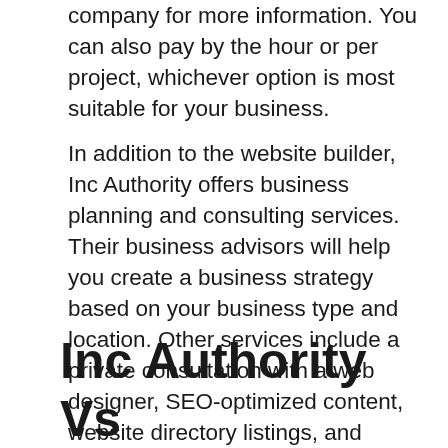company for more information. You can also pay by the hour or per project, whichever option is most suitable for your business.
In addition to the website builder, Inc Authority offers business planning and consulting services. Their business advisors will help you create a business strategy based on your business type and location. Other services include a private consultation with a web designer, SEO-optimized content, website directory listings, and professional business cards. Inc Authority offers software tools and business credit coaching to help business owners improve their financials.
Inc Authority Vs